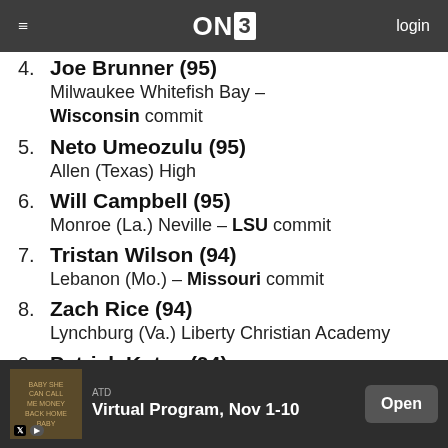ON3 | login
4. Joe Brunner (95) Milwaukee Whitefish Bay – Wisconsin commit
5. Neto Umeozulu (95) Allen (Texas) High
6. Will Campbell (95) Monroe (La.) Neville – LSU commit
7. Tristan Wilson (94) Lebanon (Mo.) – Missouri commit
8. Zach Rice (94) Lynchburg (Va.) Liberty Christian Academy
9. Patrick Kutas (94)
ATD Virtual Program, Nov 1-10